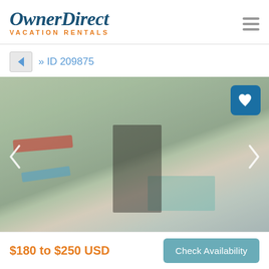OwnerDirect VACATION RENTALS
» ID 209875
[Figure (photo): Outdoor vacation rental property photo showing trees, greenery, and structures, with a heart/favorite button in the top right corner and left/right navigation arrows.]
$180 to $250 USD
Check Availability